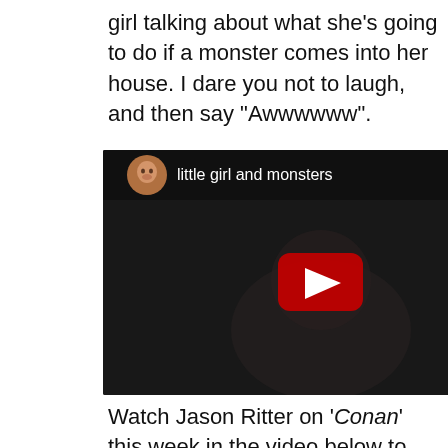girl talking about what she’s going to do if a monster comes into her house. I dare you not to laugh, and then say “Awwwwww”.
[Figure (screenshot): YouTube video thumbnail showing a dark video of a little girl, with video title 'little girl and monsters', a circular avatar thumbnail in top-left, a red play button in the center, and a three-dot menu icon in top-right.]
Watch Jason Ritter on ‘Conan’ this week in the video below to find out what his last two favorite YouTube videos are and then.